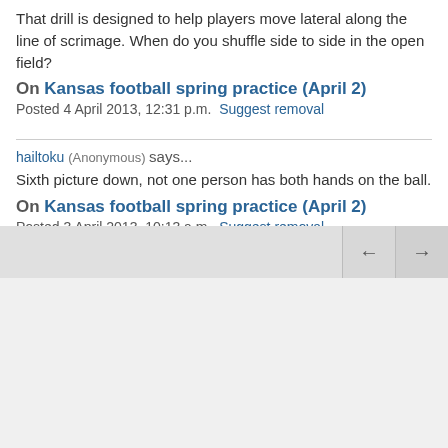That drill is designed to help players move lateral along the line of scrimage. When do you shuffle side to side in the open field?
On Kansas football spring practice (April 2)
Posted 4 April 2013, 12:31 p.m. Suggest removal
hailtoku (Anonymous) says...
Sixth picture down, not one person has both hands on the ball.
On Kansas football spring practice (April 2)
Posted 3 April 2013, 10:13 a.m. Suggest removal